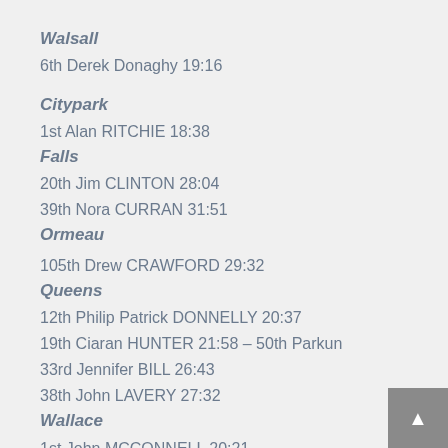Walsall
6th Derek Donaghy 19:16
Citypark
1st Alan RITCHIE 18:38
Falls
20th Jim CLINTON 28:04
39th Nora CURRAN 31:51
Ormeau
105th Drew CRAWFORD 29:32
Queens
12th Philip Patrick DONNELLY 20:37
19th Ciaran HUNTER 21:58 – 50th Parkun
33rd Jennifer BILL 26:43
38th John LAVERY 27:32
Wallace
1st John MCCONNELL 20:21
Waterworks